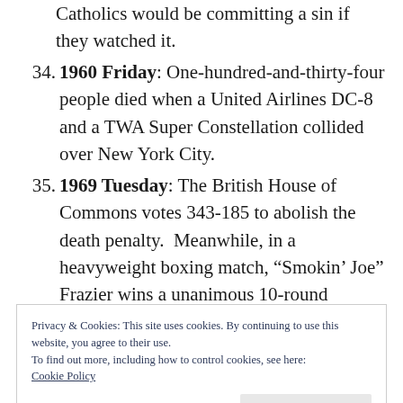(continuation) Catholics would be committing a sin if they watched it.
34. 1960 Friday: One-hundred-and-thirty-four people died when a United Airlines DC-8 and a TWA Super Constellation collided over New York City.
35. 1969 Tuesday: The British House of Commons votes 343-185 to abolish the death penalty.  Meanwhile, in a heavyweight boxing match, “Smokin’ Joe” Frazier wins a unanimous 10-round decision over his
Privacy & Cookies: This site uses cookies. By continuing to use this website, you agree to their use.
To find out more, including how to control cookies, see here:
Cookie Policy
Close and accept